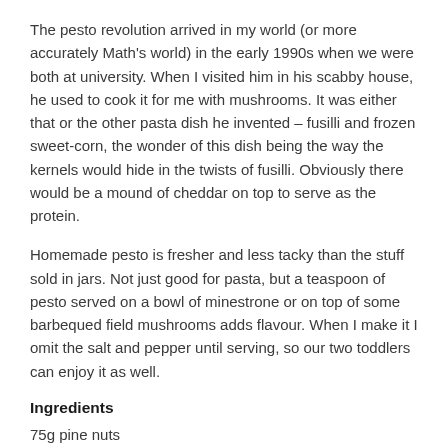The pesto revolution arrived in my world (or more accurately Math's world) in the early 1990s when we were both at university. When I visited him in his scabby house, he used to cook it for me with mushrooms. It was either that or the other pasta dish he invented – fusilli and frozen sweet-corn, the wonder of this dish being the way the kernels would hide in the twists of fusilli. Obviously there would be a mound of cheddar on top to serve as the protein.
Homemade pesto is fresher and less tacky than the stuff sold in jars. Not just good for pasta, but a teaspoon of pesto served on a bowl of minestrone or on top of some barbequed field mushrooms adds flavour. When I make it I omit the salt and pepper until serving, so our two toddlers can enjoy it as well.
Ingredients
75g pine nuts
25g fresh basil, finely chopped (a mezzaluna is perfect for this job)
6 tbs olive oil
Salt and black pepper